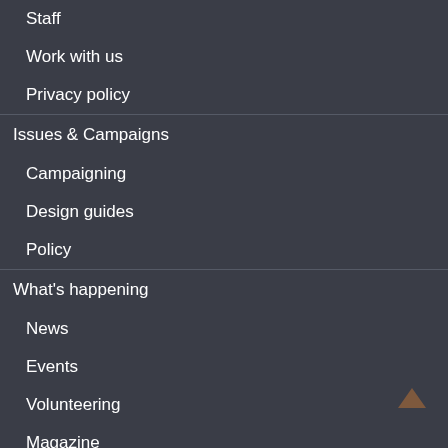Staff
Work with us
Privacy policy
Issues & Campaigns
Campaigning
Design guides
Policy
What's happening
News
Events
Volunteering
Magazine
Elections
Help & Advice
Welcome to cycling